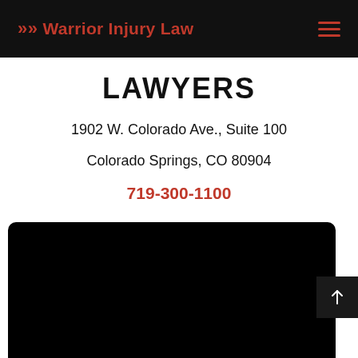Warrior Injury Law
LAWYERS
1902 W. Colorado Ave., Suite 100
Colorado Springs, CO 80904
719-300-1100
[Figure (other): Embedded map or video area, black rectangle at bottom of page]